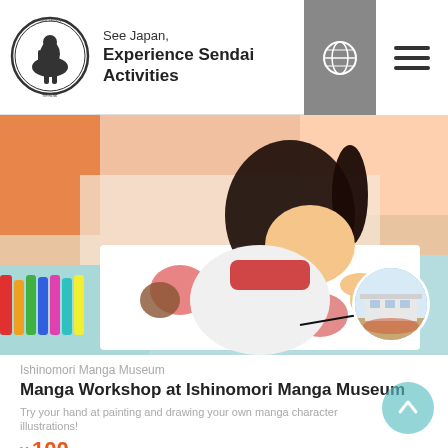See Japan, Experience Sendai Activities
[Figure (photo): Child drawing/painting manga character illustrations at a table with colored pencils]
[Figure (photo): Circular thumbnail photo of Ishinomori Manga Museum building exterior]
Ishinomori Manga Museum
Manga Workshop at Ishinomori Manga Museum
Try your hand at painting and drawing your own manga character illustrations!
¥ 100 JPY- (tax included)